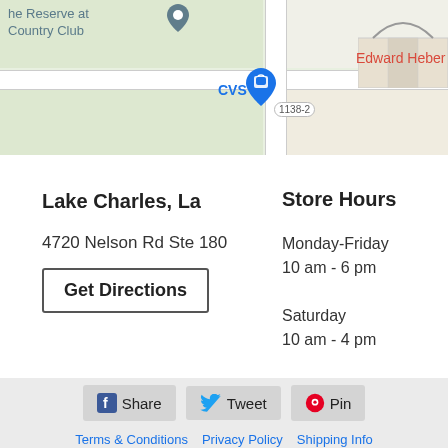[Figure (map): Google Maps screenshot showing location near CVS at 4720 Nelson Rd Ste 180, Lake Charles, LA. Map shows streets, nearby landmarks including 'the Reserve at Country Club', 'Edward Heber', and a blue location pin over CVS.]
Lake Charles, La
4720 Nelson Rd Ste 180
Get Directions
Store Hours
Monday-Friday
10 am - 6 pm
Saturday
10 am - 4 pm
Sunday
Closed
Share  Tweet  Pin
Terms & Conditions  Privacy Policy  Shipping Info